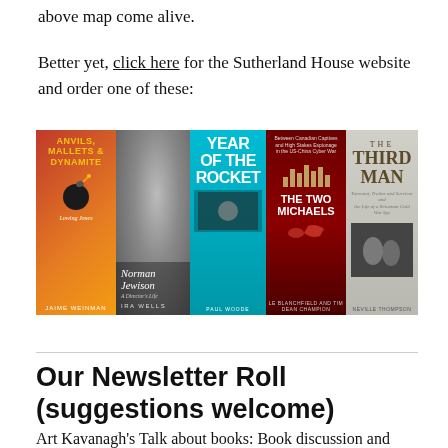above map come alive.
Better yet, click here for the Sutherland House website and order one of these:
[Figure (photo): A horizontal strip of five book covers: Anvils, Mallets & Dynamite by Jaime Weinman (orange/red cover with bomb illustration); Norman Jewison: A Director's Life by Ira Wells (black and white photo cover); Year of the Rocket by Paul Woode (cyan/blue cover); The Two Michaels (dark red cover); The Third Man by Neville Thompson (gray/light cover).]
Our Newsletter Roll (suggestions welcome)
Art Kavanagh's Talk about books: Book discussion and